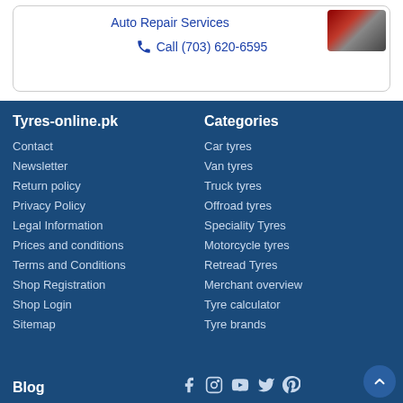Auto Repair Services
Call (703) 620-6595
[Figure (photo): Photo of a car engine or auto repair scene]
Tyres-online.pk
Categories
Contact
Car tyres
Newsletter
Van tyres
Return policy
Truck tyres
Privacy Policy
Offroad tyres
Legal Information
Speciality Tyres
Prices and conditions
Motorcycle tyres
Terms and Conditions
Retread Tyres
Shop Registration
Merchant overview
Shop Login
Tyre calculator
Sitemap
Tyre brands
Blog